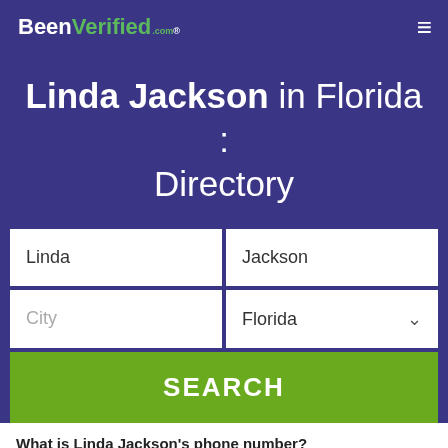BeenVerified.com
Linda Jackson in Florida : Directory
Linda | Jackson
City | Florida
SEARCH
What is Linda Jackson's phone number?
Linda Jackson's phone number is 904-213-4054. Other phone numbers for Linda Jackson may include 850-885-7485 and 850-488-8455.